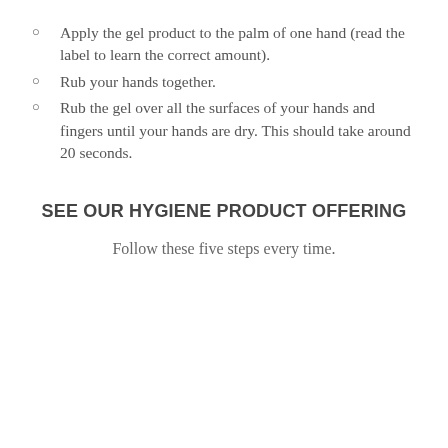Apply the gel product to the palm of one hand (read the label to learn the correct amount).
Rub your hands together.
Rub the gel over all the surfaces of your hands and fingers until your hands are dry. This should take around 20 seconds.
SEE OUR HYGIENE PRODUCT OFFERING
Follow these five steps every time.